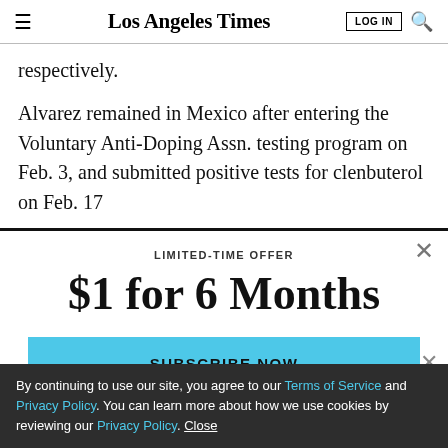Los Angeles Times | LOG IN | (search icon)
respectively.
Alvarez remained in Mexico after entering the Voluntary Anti-Doping Assn. testing program on Feb. 3, and submitted positive tests for clenbuterol on Feb. 17
LIMITED-TIME OFFER
$1 for 6 Months
SUBSCRIBE NOW
By continuing to use our site, you agree to our Terms of Service and Privacy Policy. You can learn more about how we use cookies by reviewing our Privacy Policy. Close